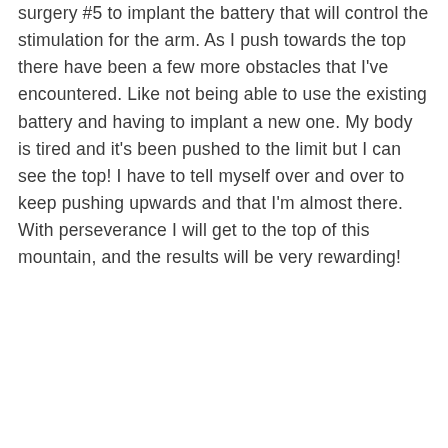surgery #5 to implant the battery that will control the stimulation for the arm. As I push towards the top there have been a few more obstacles that I've encountered. Like not being able to use the existing battery and having to implant a new one. My body is tired and it's been pushed to the limit but I can see the top! I have to tell myself over and over to keep pushing upwards and that I'm almost there. With perseverance I will get to the top of this mountain, and the results will be very rewarding!